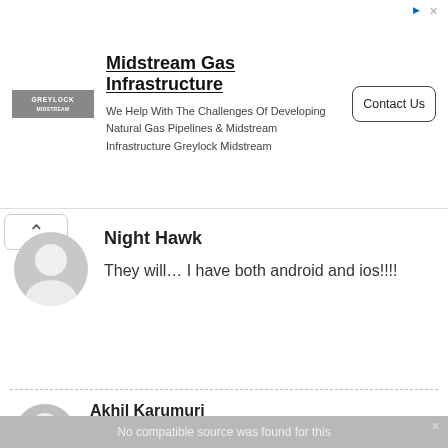[Figure (screenshot): Advertisement banner for Midstream Gas Infrastructure by Greylock Midstream. Contains logo, headline, body text, and Contact Us button.]
Night Hawk
They will… I have both android and ios!!!!
Akhil Karumuri
My favorite game mode is showdown. FFA is fun!!!! Reply if you agree!!!!!!!
[Figure (screenshot): Partial video embed with gray background showing text 'No compatible source was found for this']